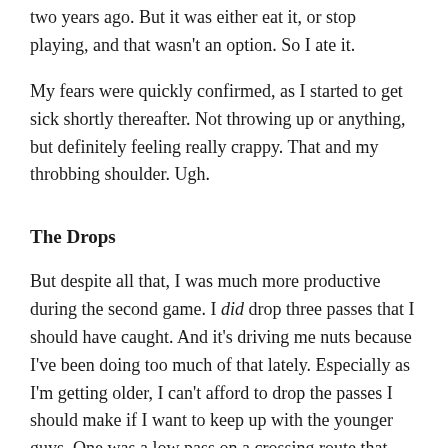two years ago. But it was either eat it, or stop playing, and that wasn't an option. So I ate it.
My fears were quickly confirmed, as I started to get sick shortly thereafter. Not throwing up or anything, but definitely feeling really crappy. That and my throbbing shoulder. Ugh.
The Drops
But despite all that, I was much more productive during the second game. I did drop three passes that I should have caught. And it's driving me nuts because I've been doing too much of that lately. Especially as I'm getting older, I can't afford to drop the passes I should make if I want to keep up with the younger guys. One was a low pass on a crossing route that wasn't all that easy, but I should have caught none-the-less. Another was a high and outside pass at the sideline that was a little awkward